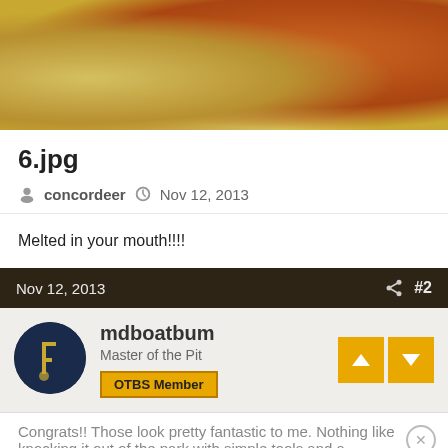[Figure (photo): Partial photo showing food/meat with yellow, orange, and brown tones, cropped at top]
6.jpg
concordeer  Nov 12, 2013
Melted in your mouth!!!!
Nov 12, 2013  #2
mdboatbum
Master of the Pit
OTBS Member
Congrats!! Those look pretty fantastic to me. Nothing like knocking it out of the park with simple tools and a